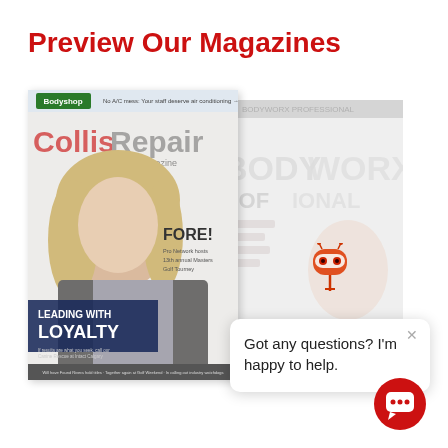Preview Our Magazines
[Figure (photo): Collision Repair Magazine cover featuring a woman with blonde hair, text 'LEADING WITH LOYALTY', 'FORE!' and Bodyshop logo]
[Figure (photo): BODYWORX PROFESSIONAL magazine cover, partially visible behind Collision Repair Magazine, showing a person and large text BODYWORX PROFESSIONAL]
[Figure (illustration): Chat mascot robot icon (small orange/red robot head with antennae on a stick)]
Got any questions? I'm happy to help.
[Figure (illustration): Red circular chat button with white speech bubble icon in bottom right corner]